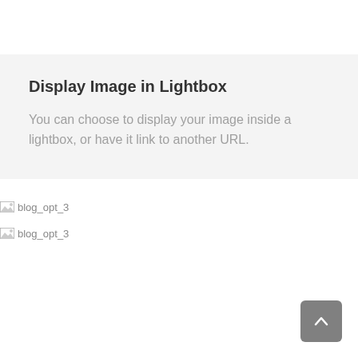Display Image in Lightbox
You can choose to display your image inside a lightbox, or have it link to another URL.
[Figure (other): Broken image placeholder labeled blog_opt_3]
[Figure (other): Broken image placeholder labeled blog_opt_3]